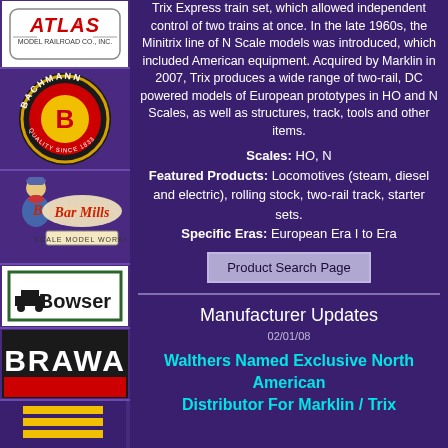[Figure (logo): Atlas Model Railroad Co., Inc. logo]
[Figure (logo): Bachmann Quality Since 1833 logo]
[Figure (logo): Bar Mills Scale Model Works logo]
[Figure (logo): Bowser logo]
[Figure (logo): Brawa logo]
[Figure (logo): Partial bottom logo]
Trix Express train set, which allowed independent control of two trains at once. In the late 1960s, the Minitrix line of N Scale models was introduced, which included American equipment. Acquired by Marklin in 2007, Trix produces a wide range of two-rail, DC powered models of European prototypes in HO and N Scales, as well as structures, track, tools and other items.
Scales: HO, N
Featured Products: Locomotives (steam, diesel and electric), rolling stock, two-rail track, starter sets.
Specific Eras: European Era I to Era
Product Search Page
Manufacturer Updates
02/01/08
Walthers Named Exclusive North American Distributor For Marklin / Trix